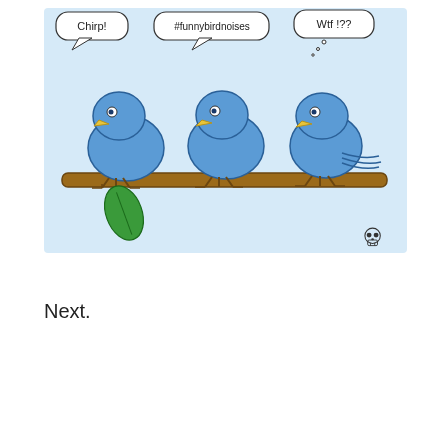[Figure (illustration): Cartoon of three blue birds sitting on a branch. The left bird has a speech bubble saying 'Chirp!', the middle bird has a speech bubble saying '#funnybirdnoises', and the right bird has a thought bubble saying 'Wtf !??' with small circles. A green leaf hangs from the branch. Light blue background. Small skull icon in bottom right corner.]
Next.